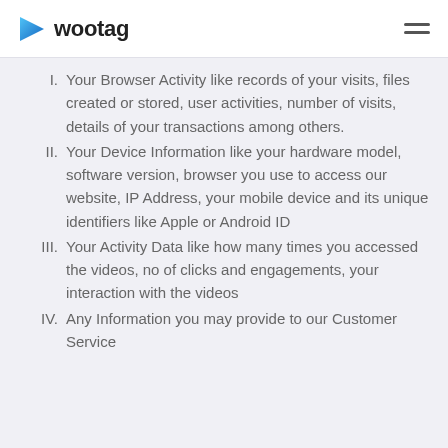wootag
I. Your Browser Activity like records of your visits, files created or stored, user activities, number of visits, details of your transactions among others.
II. Your Device Information like your hardware model, software version, browser you use to access our website, IP Address, your mobile device and its unique identifiers like Apple or Android ID
III. Your Activity Data like how many times you accessed the videos, no of clicks and engagements, your interaction with the videos
IV. Any Information you may provide to our Customer Service